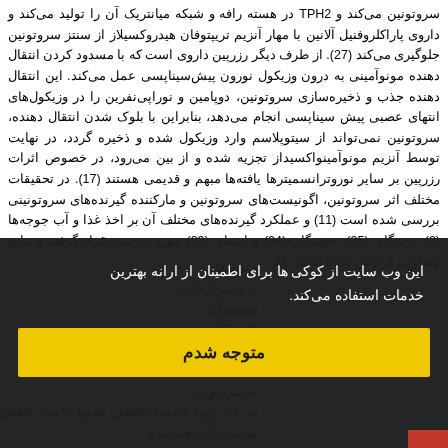سروتونین می‌کند و TPH2 در هسته رافه و شبکه میانتریک آن را تولید می‌کند و داروی پاراکلروفنیل آلانین با مهار آنزیم تریپتوفان هیدروکسیلاز از سنتز سروتونین جلوگیری می‌کند (27). از طرف دیگر رزرپین داروی است که با مسدود کردن انتقال دهنده مونوآمینی به درون وزیکول نورون پیش‌سیناپسی عمل می‌کند. این انتقال دهنده جذب و ذخیره‌سازی سروتونین، دوپامین و نوراپی‌نفرین را در وزیکول‌های انتهای عصبی پیش سیناپسی انجام می‌دهد، بنابراین با بلوک شدن انتقال دهنده، سروتونین نمی‌تواند از سیتوپلاسم وارد وزیکول شده و ذخیره گردد، در نهایت توسط آنزیم مونوآمینواکسیداز تجزیه شده و از بین می‌رود، در خصوص اثرات رزرپین بر سایر نوروترانسمیترها یافته‌ها مبهم و قدیمی هستند (17). در تحقیقات مختلف اثر سروتونین، اگونیست‌های سروتونین و مارکننده گیرنده‌های سروتونینی بررسی شده است (11) و عملکرد گیرنده‌های مختلف آن بر اخذ غذا و آب جوجه‌ها (2)، پرندگان (25)، جوندگان (24) و انسان (23) مورد بررسی قرار گرفته و نتایج متفاوتی گزارش شده است، اگر
و تحقیقات، ن و میزان تایر همبستگی کان (25) و اخذ آب هنگ با تغییر به سروتونین ت داد زیرا احتمالا کاهش اشتها باعث کاهش نوشیدن آب هم شده
این وب سایت از کوکی ها برای اطمینان از ارانه بهترین خدمات استفاده می‌کند.
متوجه شدم